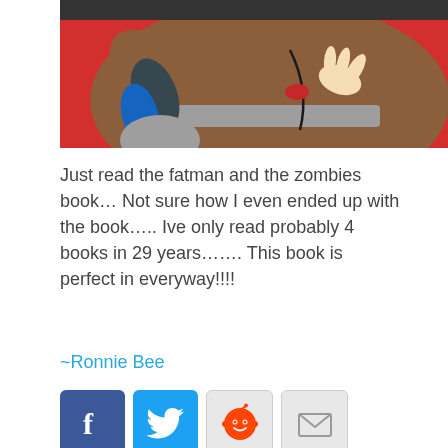[Figure (illustration): Cartoon illustration of a large brown figure with a blue-sleeved arm reaching into its side, set against a red background. Partial view showing the bottom portion of the image.]
Just read the fatman and the zombies book… Not sure how I even ended up with the book….. Ive only read probably 4 books in 29 years……. This book is perfect in everyway!!!!
~Ronnie Bee
[Figure (infographic): Row of four social sharing icons: Facebook (blue), Twitter (blue bird), Reddit (alien logo on gray), Email (envelope on gray)]